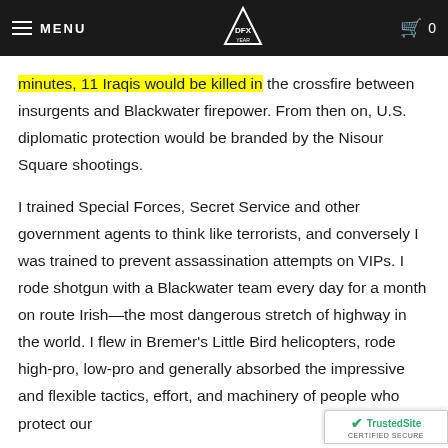MENU | [DFX YEAR logo] | 0
minutes, 11 Iraqis would be killed in the crossfire between insurgents and Blackwater firepower. From then on, U.S. diplomatic protection would be branded by the Nisour Square shootings.
I trained Special Forces, Secret Service and other government agents to think like terrorists, and conversely I was trained to prevent assassination attempts on VIPs. I rode shotgun with a Blackwater team every day for a month on route Irish—the most dangerous stretch of highway in the world. I flew in Bremer's Little Bird helicopters, rode high-pro, low-pro and generally absorbed the impressive and flexible tactics, effort, and machinery of people who protect our